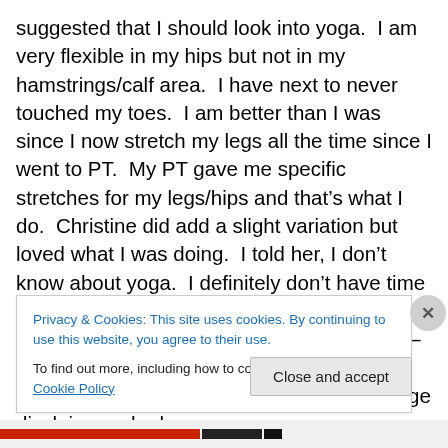suggested that I should look into yoga.  I am very flexible in my hips but not in my hamstrings/calf area.  I have next to never touched my toes.  I am better than I was since I now stretch my legs all the time since I went to PT.  My PT gave me specific stretches for my legs/hips and that’s what I do.  Christine did add a slight variation but loved what I was doing.  I told her, I don’t know about yoga.  I definitely don’t have time for a regular class and I have this stupid phobia/anxiety/I don’t know what you call it – thing about doing exercise videos in my house when my husband is home.  Now huge disclaimer – he has never
Privacy & Cookies: This site uses cookies. By continuing to use this website, you agree to their use.
To find out more, including how to control cookies, see here: Cookie Policy
Close and accept